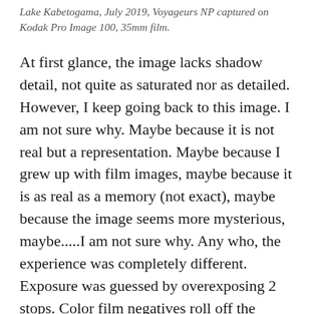Lake Kabetogama, July 2019, Voyageurs NP captured on Kodak Pro Image 100, 35mm film.
At first glance, the image lacks shadow detail, not quite as saturated nor as detailed. However, I keep going back to this image. I am not sure why. Maybe because it is not real but a representation. Maybe because I grew up with film images, maybe because it is as real as a memory (not exact), maybe because the image seems more mysterious, maybe.....I am not sure why. Any who, the experience was completely different. Exposure was guessed by overexposing 2 stops. Color film negatives roll off the highlights so I was fairly certain my highlights would be fine. Not possible with digital. I handheld this and used the lens